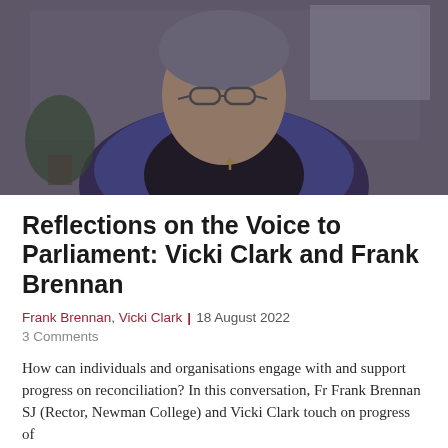[Figure (photo): A man wearing glasses and a dark top with a cross pendant, with a blue jacket, photographed indoors in a video call setting with a blurred background.]
Reflections on the Voice to Parliament: Vicki Clark and Frank Brennan
Frank Brennan, Vicki Clark | 18 August 2022
3 Comments
How can individuals and organisations engage with and support progress on reconciliation? In this conversation, Fr Frank Brennan SJ (Rector, Newman College) and Vicki Clark touch on progress of